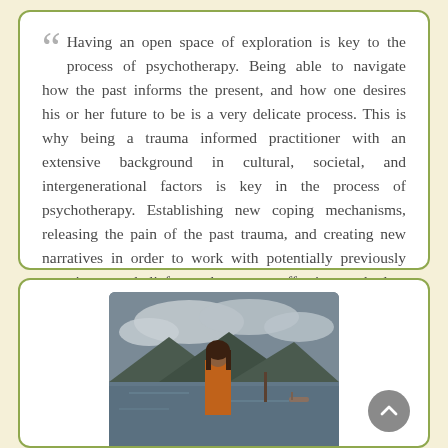Having an open space of exploration is key to the process of psychotherapy. Being able to navigate how the past informs the present, and how one desires his or her future to be is a very delicate process. This is why being a trauma informed practitioner with an extensive background in cultural, societal, and intergenerational factors is key in the process of psychotherapy. Establishing new coping mechanisms, releasing the pain of the past trauma, and creating new narratives in order to work with potentially previously negative core beliefs can be a very effective method to growth and healing.
[Figure (photo): A woman with long dark hair wearing an orange jacket standing near a lake or body of water with mountains and clouds in the background]